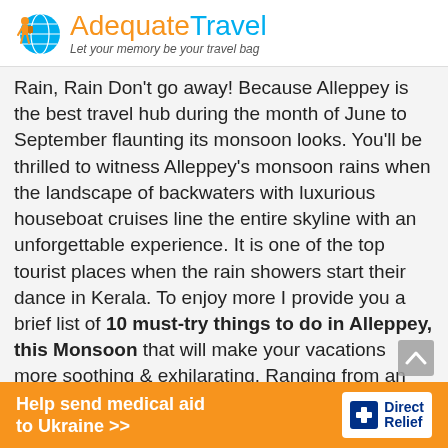AdequateTravel — Let your memory be your travel bag
Rain, Rain Don't go away! Because Alleppey is the best travel hub during the month of June to September flaunting its monsoon looks. You'll be thrilled to witness Alleppey's monsoon rains when the landscape of backwaters with luxurious houseboat cruises line the entire skyline with an unforgettable experience. It is one of the top tourist places when the rain showers start their dance in Kerala. To enjoy more I provide you a brief list of 10 must-try things to do in Alleppey, this Monsoon that will make your vacations more soothing & exhilarating. Ranging from an elephant's ride to the rejuvenating ayurvedic massages, there are incredible adventures waiting for you in the given below list of 10 famous things to do at Alleppey in Monsoon fitti…
[Figure (logo): Direct Relief advertisement banner — Help send medical aid to Ukraine >>]